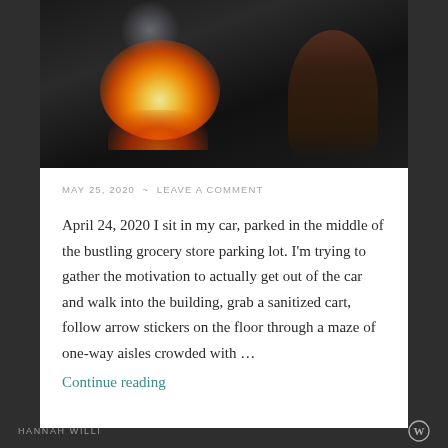[Figure (photo): Nighttime campfire scene with glowing flames and a person sitting nearby in the dark]
MAY 25, 2020 ~ LEAVE A COMMENT
April 24, 2020 I sit in my car, parked in the middle of the bustling grocery store parking lot. I'm trying to gather the motivation to actually get out of the car and walk into the building, grab a sanitized cart, follow arrow stickers on the floor through a maze of one-way aisles crowded with …
Continue reading
HANNAH WILLI